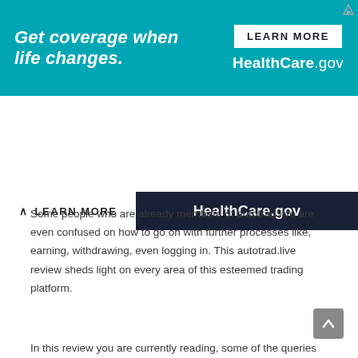[Figure (screenshot): HealthCare.gov advertisement banner with teal background. Left side reads 'Get coverage when life changes.' in bold white italic text. Right side shows a white 'LEARN MORE' button and 'HealthCare.gov' in white text. A small ad indicator triangle is in the top-right corner.]
[Figure (screenshot): Collapsed ad bar showing a white section with chevron-up icon and 'LEARN MORE' text on a dark navy background, and 'HealthCare.gov' text on the right side.]
Some people who are already members of autotrad.live are even confused on how to go on with further processes like, earning, withdrawing, even logging in. This autotrad.live review sheds light on every area of this esteemed trading platform.
In this review you are currently reading, some of the queries you